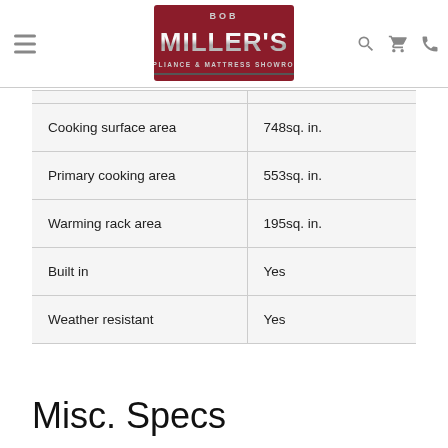[Figure (logo): Bob Miller's Appliance & Mattress Showroom logo — red background with silver chrome text]
| Attribute | Value |
| --- | --- |
| Cooking surface area | 748sq. in. |
| Primary cooking area | 553sq. in. |
| Warming rack area | 195sq. in. |
| Built in | Yes |
| Weather resistant | Yes |
Misc. Specs